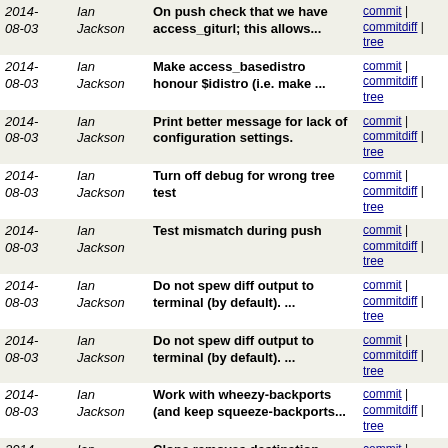| Date | Author | Message | Links |
| --- | --- | --- | --- |
| 2014-08-03 | Ian Jackson | On push check that we have access_giturl; this allows... | commit | commitdiff | tree |
| 2014-08-03 | Ian Jackson | Make access_basedistro honour $idistro (i.e. make ... | commit | commitdiff | tree |
| 2014-08-03 | Ian Jackson | Print better message for lack of configuration settings. | commit | commitdiff | tree |
| 2014-08-03 | Ian Jackson | Turn off debug for wrong tree test | commit | commitdiff | tree |
| 2014-08-03 | Ian Jackson | Test mismatch during push | commit | commitdiff | tree |
| 2014-08-03 | Ian Jackson | Do not spew diff output to terminal (by default). ... | commit | commitdiff | tree |
| 2014-08-03 | Ian Jackson | Do not spew diff output to terminal (by default). ... | commit | commitdiff | tree |
| 2014-08-03 | Ian Jackson | Work with wheezy-backports (and keep squeeze-backports... | commit | commitdiff | tree |
| 2014-08-03 | Ian Jackson | Clone removes destination directory on error. Closes... | commit | commitdiff | tree |
| 2014-08-03 | Ian Jackson | getcwd: Introduce must_getcwd using getcwd rather than... | commit | commitdiff | tree |
| 2014-08-02 | Ian Jackson | debian/changelog: Recategorise and sort out a bit | commit | commitdiff | tree |
| 2014-07-30 | Ian Jackson | Mention cross-version dgit rpush incompatibility in... | commit | commitdiff | tree |
| 2014-07-30 | Ian Jackson | Revert "Switch to using dgit@git.debian.org (and dgit... | commit | commitdiff | tree |
| 2014- | Ian | tests: drs-push-rejects: test unknown | commit |